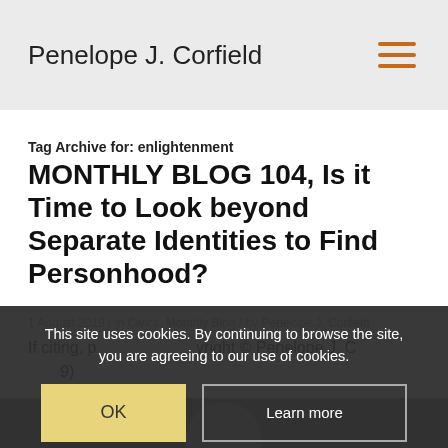Penelope J. Corfield
Tag Archive for: enlightenment
MONTHLY BLOG 104, Is it Time to Look beyond Separate Identities to Find Personhood?
1 August 2019 / in Civics, Monthly Blog / by Penelope J. Corfield
If citing, please note: copyright © Penelope J. Corfield (2019)
This site uses cookies. By continuing to browse the site, you are agreeing to our use of cookies.